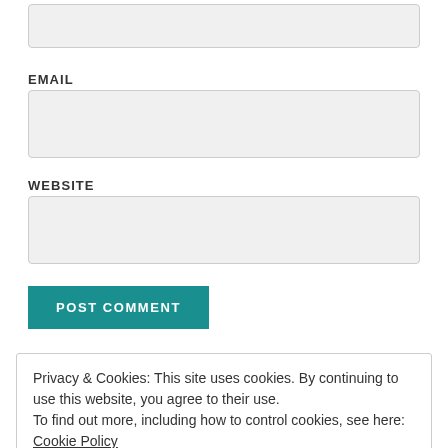[Figure (screenshot): Empty text input field (top, partially visible)]
EMAIL
[Figure (screenshot): Email input field]
WEBSITE
[Figure (screenshot): Website input field]
POST COMMENT
Privacy & Cookies: This site uses cookies. By continuing to use this website, you agree to their use.
To find out more, including how to control cookies, see here: Cookie Policy
Close and accept